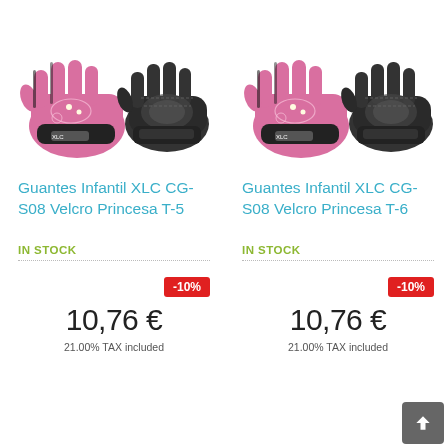[Figure (photo): Pink and black XLC children cycling gloves, pair shown front and back]
Guantes Infantil XLC CG-S08 Velcro Princesa T-5
IN STOCK
-10%
10,76 €
21.00% TAX included
[Figure (photo): Pink and black XLC children cycling gloves, pair shown front and back]
Guantes Infantil XLC CG-S08 Velcro Princesa T-6
IN STOCK
-10%
10,76 €
21.00% TAX included